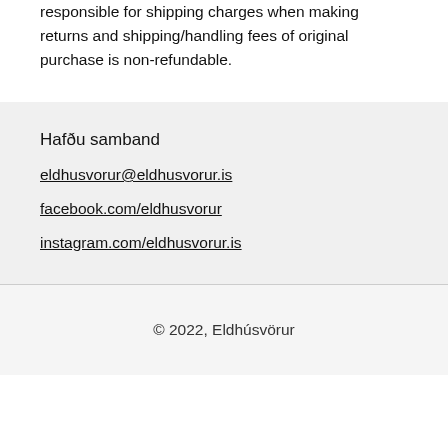responsible for shipping charges when making returns and shipping/handling fees of original purchase is non-refundable.
Hafðu samband
eldhusvorur@eldhusvorur.is
facebook.com/eldhusvorur
instagram.com/eldhusvorur.is
© 2022, Eldhúsvörur